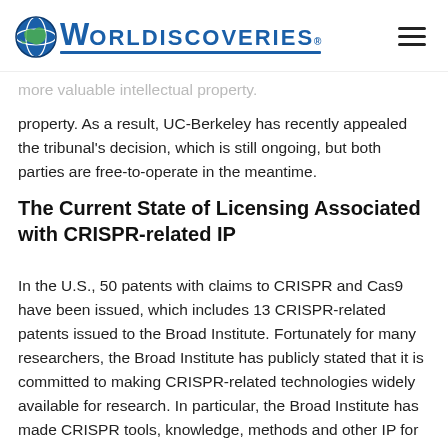WORLDDISCOVERIES®
more valuable intellectual property. As a result, UC-Berkeley has recently appealed the tribunal's decision, which is still ongoing, but both parties are free-to-operate in the meantime.
The Current State of Licensing Associated with CRISPR-related IP
In the U.S., 50 patents with claims to CRISPR and Cas9 have been issued, which includes 13 CRISPR-related patents issued to the Broad Institute. Fortunately for many researchers, the Broad Institute has publicly stated that it is committed to making CRISPR-related technologies widely available for research. In particular, the Broad Institute has made CRISPR tools, knowledge, methods and other IP for genome-editing freely available to the academic and non-profit community for many areas of research. However,